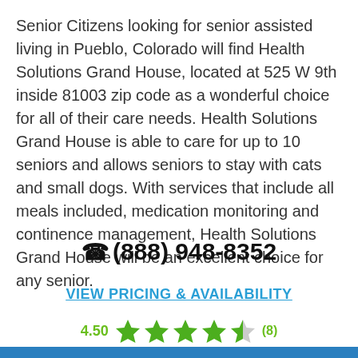Senior Citizens looking for senior assisted living in Pueblo, Colorado will find Health Solutions Grand House, located at 525 W 9th inside 81003 zip code as a wonderful choice for all of their care needs. Health Solutions Grand House is able to care for up to 10 seniors and allows seniors to stay with cats and small dogs. With services that include all meals included, medication monitoring and continence management, Health Solutions Grand House will be an excellent choice for any senior.
(888) 948-8352
VIEW PRICING & AVAILABILITY
4.50 (8)